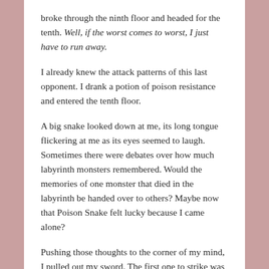broke through the ninth floor and headed for the tenth. Well, if the worst comes to worst, I just have to run away.
I already knew the attack patterns of this last opponent. I drank a potion of poison resistance and entered the tenth floor.
A big snake looked down at me, its long tongue flickering at me as its eyes seemed to laugh. Sometimes there were debates over how much labyrinth monsters remembered. Would the memories of one monster that died in the labyrinth be handed over to others? Maybe now that Poison Snake felt lucky because I came alone?
Pushing those thoughts to the corner of my mind, I pulled out my sword. The first one to strike was the Poison Snake, which shot venom from its mouth.